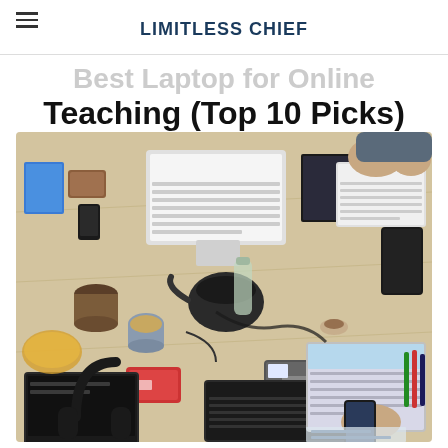LIMITLESS CHIEF
Best Laptop for Online Teaching (Top 10 Picks)
[Figure (photo): Overhead aerial view of a wooden desk with multiple open laptops, headphones, a smartphone, tablet, tea kettle, cups, notebooks, cables, and other accessories spread across it. Multiple people's hands are visible using the devices.]